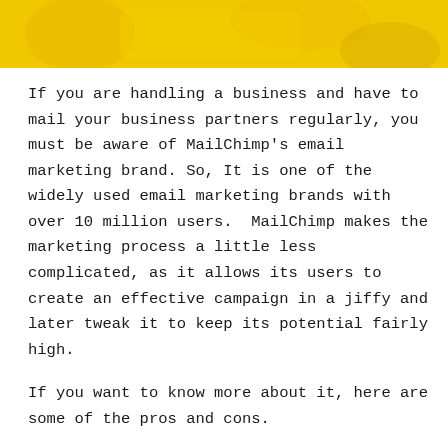[Figure (photo): Yellow banner image at the top of the page with a yellow/gold background and faint illustrated elements]
If you are handling a business and have to mail your business partners regularly, you must be aware of MailChimp's email marketing brand. So, It is one of the widely used email marketing brands with over 10 million users.  MailChimp makes the marketing process a little less complicated, as it allows its users to create an effective campaign in a jiffy and later tweak it to keep its potential fairly high.
If you want to know more about it, here are some of the pros and cons.